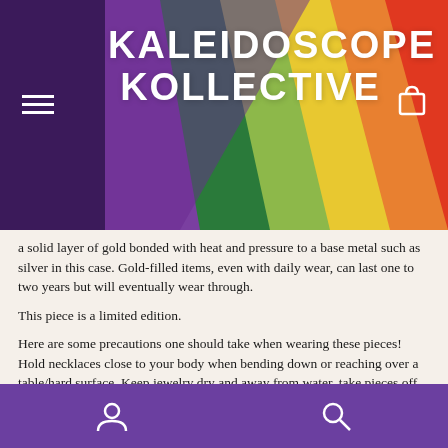KALEIDOSCOPE KOLLECTIVE
a solid layer of gold bonded with heat and pressure to a base metal such as silver in this case. Gold-filled items, even with daily wear, can last one to two years but will eventually wear through.
This piece is a limited edition.
Here are some precautions one should take when wearing these pieces! Hold necklaces close to your body when bending down or reaching over a table/hard surface. Keep jewelry dry and away from water, take pieces off when bathing, swimming, washing hands.
All of our pieces are wearable art. They should be treated with extra special care and love! Although breakage is a rare occurrence, we understand it can still happen. The wearer assumes all responsibility outside natural wear and tear that may happen over the years.
Navigation icons: user, search